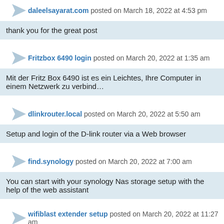daleelsayarat.com posted on March 18, 2022 at 4:53 pm
thank you for the great post
Fritzbox 6490 login posted on March 20, 2022 at 1:35 am
Mit der Fritz Box 6490 ist es ein Leichtes, Ihre Computer in einem Netzwerk zu verbind…
dlinkrouter.local posted on March 20, 2022 at 5:50 am
Setup and login of the D-link router via a Web browser
find.synology posted on March 20, 2022 at 7:00 am
You can start with your synology Nas storage setup with the help of the web assistant
wifiblast extender setup posted on March 20, 2022 at 11:27 am
There are two ways to install the wifiblast range extender wired or wireless.